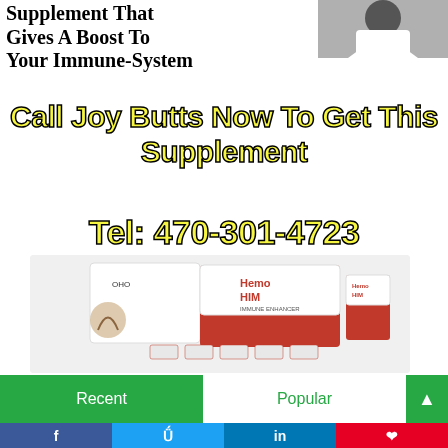[Figure (photo): Advertisement image showing a person in white coat (top right), bold black text headline about immune system supplement, yellow bold call-to-action text, phone number, and product photo of HemoHIM supplement boxes and packets]
Supplement That Gives A Boost To Your Immune-System
Call Joy Butts Now To Get This Supplement
Tel: 470-301-4723
[Figure (photo): HemoHIM supplement product photo showing white and red boxes with packets and a glass]
Recent
Popular
f  t  in  Pinterest social share bar